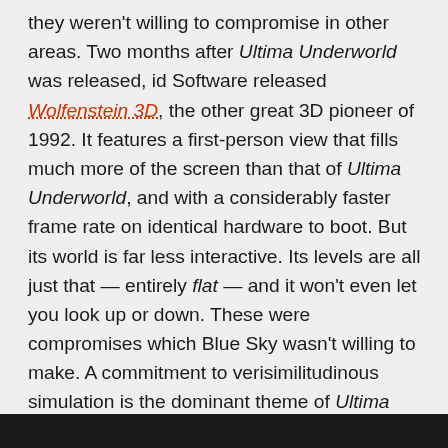they weren't willing to compromise in other areas. Two months after Ultima Underworld was released, id Software released Wolfenstein 3D, the other great 3D pioneer of 1992. It features a first-person view that fills much more of the screen than that of Ultima Underworld, and with a considerably faster frame rate on identical hardware to boot. But its world is far less interactive. Its levels are all just that — entirely flat — and it won't even let you look up or down. These were compromises which Blue Sky wasn't willing to make. A commitment to verisimilitudinous simulation is the dominant theme of Ultima Underworld's design. It would go on to become the attribute that, more than any other, distinguishes the games of their later incarnation, Looking Glass Technologies, from the "just run and shoot" approach of id.